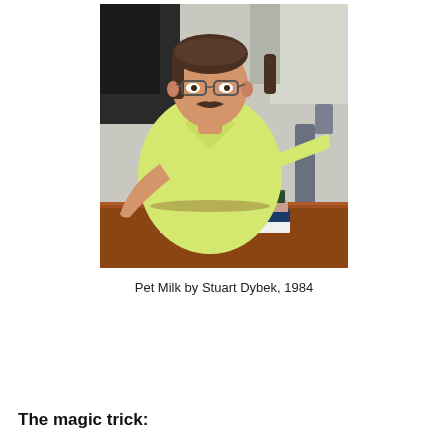[Figure (photo): A middle-aged man with glasses and a mustache wearing a light yellow polo shirt, seated at a wooden table with several books stacked in front of him. The background shows a room interior.]
Pet Milk by Stuart Dybek, 1984
The magic trick: